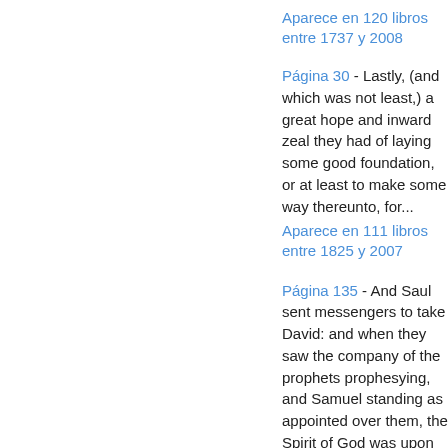Aparece en 120 libros entre 1737 y 2008
Página 30 - Lastly, (and which was not least,) a great hope and inward zeal they had of laying some good foundation, or at least to make some way thereunto, for...
Aparece en 111 libros entre 1825 y 2007
Página 135 - And Saul sent messengers to take David: and when they saw the company of the prophets prophesying, and Samuel standing as appointed over them, the Spirit of God was upon the messengers of Saul, and they also